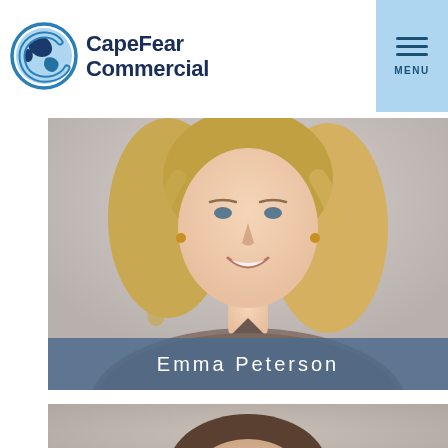[Figure (logo): Cape Fear Commercial company logo with globe icon and dark navy text]
[Figure (photo): Professional headshot of Emma Peterson, woman with blonde hair wearing a gray top, against a light gray background with blue name banner overlay]
Emma Peterson
[Figure (photo): Partial view of another person's professional headshot, cropped at bottom of page]